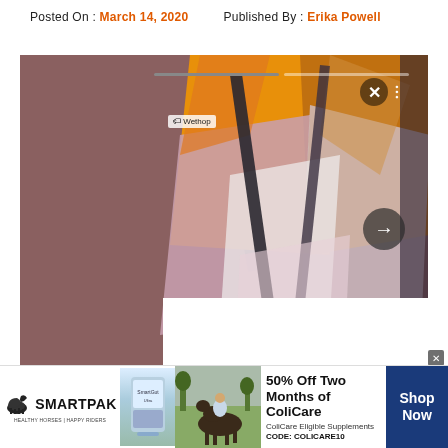Posted On : March 14, 2020    Published By : Erika Powell
[Figure (photo): A screenshot of a social media post or website showing a colorful scarf/wrap with orange, pink, and grey tones. A modal overlay is open showing a close button (X) and a right-arrow navigation button. A progress bar is visible at the top of the modal. There is a white content block in the lower portion of the modal. The background shows a muted reddish-brown blurred image.]
[Figure (photo): An advertisement banner for SmartPak showing a horse supplement product. Includes the SmartPak logo with a horse icon, a product image, a photo of a woman with a horse, text reading '50% Off Two Months of ColiCare', 'ColiCare Eligible Supplements', 'CODE: COLICARE10', and a dark blue 'Shop Now' button.]